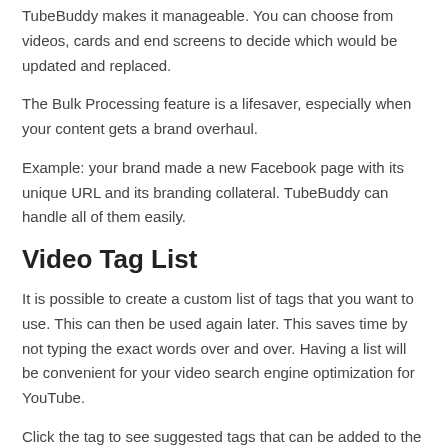TubeBuddy makes it manageable. You can choose from videos, cards and end screens to decide which would be updated and replaced.
The Bulk Processing feature is a lifesaver, especially when your content gets a brand overhaul.
Example: your brand made a new Facebook page with its unique URL and its branding collateral. TubeBuddy can handle all of them easily.
Video Tag List
It is possible to create a custom list of tags that you want to use. This can then be used again later. This saves time by not typing the exact words over and over. Having a list will be convenient for your video search engine optimization for YouTube.
Click the tag to see suggested tags that can be added to the